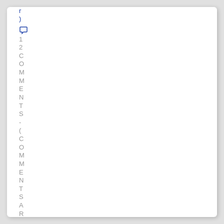r
)
[speech bubble icon]
1
2
C
O
M
M
E
N
T
S
-
(
C
O
M
M
E
N
T
S
A
R
E
C
L